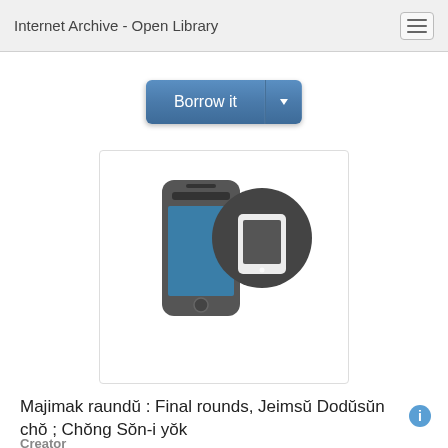Internet Archive - Open Library
[Figure (screenshot): Borrow it button with dropdown arrow, blue gradient styling]
[Figure (illustration): Smartphone icon with teal screen beside a dark grey circle containing a tablet device icon]
Majimak raundŭ : Final rounds, Jeimsŭ Dodŭsŭn chŏ ; Chŏng Sŏn-i yŏk
Creator